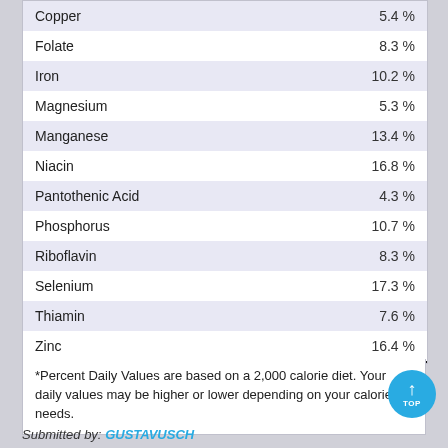| Nutrient | Value |
| --- | --- |
| Copper | 5.4 % |
| Folate | 8.3 % |
| Iron | 10.2 % |
| Magnesium | 5.3 % |
| Manganese | 13.4 % |
| Niacin | 16.8 % |
| Pantothenic Acid | 4.3 % |
| Phosphorus | 10.7 % |
| Riboflavin | 8.3 % |
| Selenium | 17.3 % |
| Thiamin | 7.6 % |
| Zinc | 16.4 % |
*Percent Daily Values are based on a 2,000 calorie diet. Your daily values may be higher or lower depending on your calorie needs.
Submitted by: GUSTAVUSCH